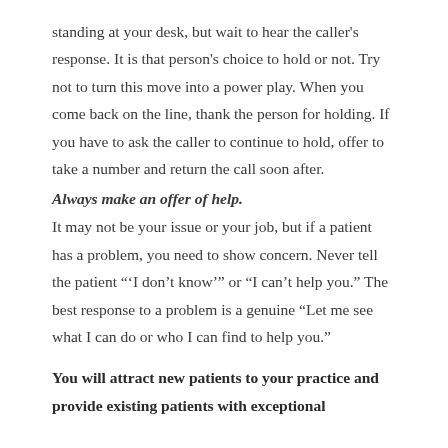standing at your desk, but wait to hear the caller's response. It is that person's choice to hold or not. Try not to turn this move into a power play. When you come back on the line, thank the person for holding. If you have to ask the caller to continue to hold, offer to take a number and return the call soon after.
Always make an offer of help.
It may not be your issue or your job, but if a patient has a problem, you need to show concern. Never tell the patient "‘I don’t know’" or “I can’t help you.” The best response to a problem is a genuine “Let me see what I can do or who I can find to help you.”
You will attract new patients to your practice and provide existing patients with exceptional